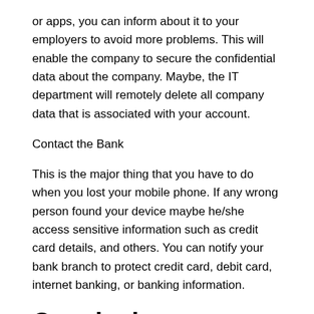or apps, you can inform about it to your employers to avoid more problems. This will enable the company to secure the confidential data about the company. Maybe, the IT department will remotely delete all company data that is associated with your account.
Contact the Bank
This is the major thing that you have to do when you lost your mobile phone. If any wrong person found your device maybe he/she access sensitive information such as credit card details, and others. You can notify your bank branch to protect credit card, debit card, internet banking, or banking information.
Conclusion